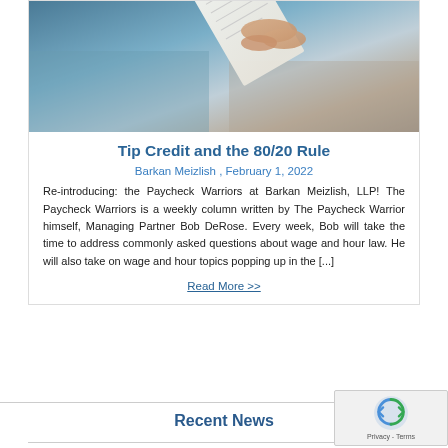[Figure (photo): Close-up photo of a person's hand holding a paper/receipt, with blurred background showing teal and neutral tones]
Tip Credit and the 80/20 Rule
Barkan Meizlish , February 1, 2022
Re-introducing: the Paycheck Warriors at Barkan Meizlish, LLP! The Paycheck Warriors is a weekly column written by The Paycheck Warrior himself, Managing Partner Bob DeRose. Every week, Bob will take the time to address commonly asked questions about wage and hour law. He will also take on wage and hour topics popping up in the [...]
Read More >>
Recent News